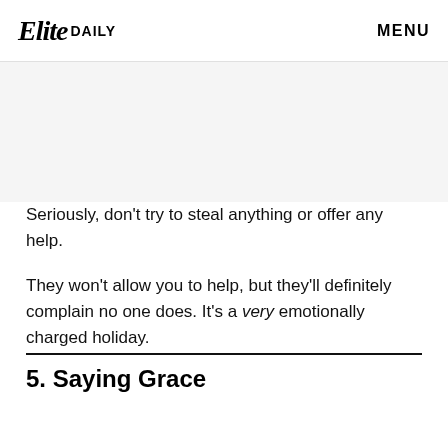Elite DAILY   MENU
Seriously, don't try to steal anything or offer any help.
They won't allow you to help, but they'll definitely complain no one does. It's a very emotionally charged holiday.
5. Saying Grace